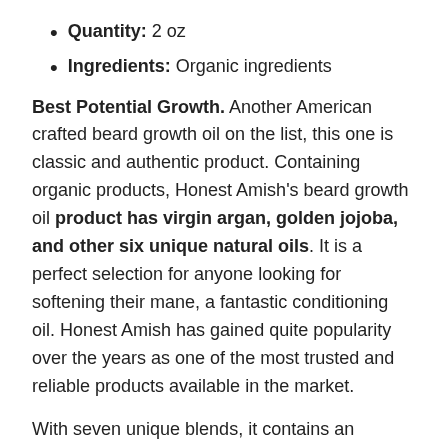Quantity: 2 oz
Ingredients: Organic ingredients
Best Potential Growth. Another American crafted beard growth oil on the list, this one is classic and authentic product. Containing organic products, Honest Amish's beard growth oil product has virgin argan, golden jojoba, and other six unique natural oils. It is a perfect selection for anyone looking for softening their mane, a fantastic conditioning oil. Honest Amish has gained quite popularity over the years as one of the most trusted and reliable products available in the market.
With seven unique blends, it contains an extensive list of minerals, vitamins, and other essential contents like antioxidants. If you don't want to confuse yourself with too many choices and only have to pick one, this product